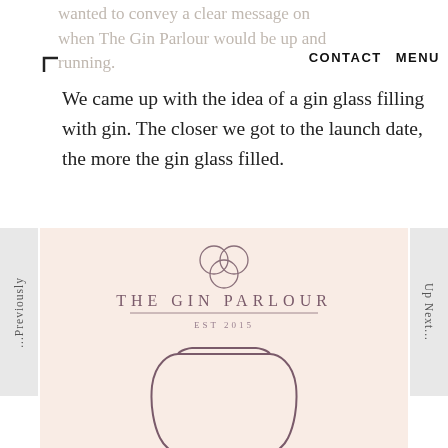wanted to convey a clear message on when The Gin Parlour would be up and running.
We came up with the idea of a gin glass filling with gin. The closer we got to the launch date, the more the gin glass filled.
[Figure (illustration): The Gin Parlour branding on a pink/peach background, showing the logo with interlocking circles, text 'THE GIN PARLOUR' and 'EST 2015', and a stemless gin glass outline below.]
...Previously
Up Next...